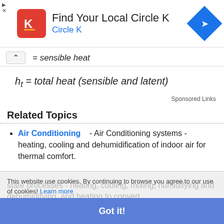[Figure (other): Circle K advertisement banner with logo, title 'Find Your Local Circle K', subtitle 'Circle K', and a blue navigation arrow icon]
= sensible heat
Sponsored Links
Related Topics
Air Conditioning - Air Conditioning systems - heating, cooling and dehumidification of indoor air for thermal comfort.
This website use cookies. By continuing to browse you agree to our use of cookies! Learn more
Got it!
state processes - heating, cooling, mixing, humidifying and dehumidifying, and heating to convert...